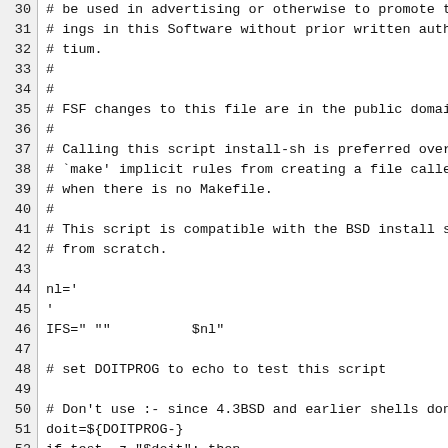30: # be used in advertising or otherwise to promote t...
31: # ings in this Software without prior written autho...
32: # tium.
33: #
34: #
35: # FSF changes to this file are in the public domain...
36: #
37: # Calling this script install-sh is preferred over...
38: # `make' implicit rules from creating a file called...
39: # when there is no Makefile.
40: #
41: # This script is compatible with the BSD install sc...
42: # from scratch.
43: (empty)
44: nl='
45: '
46: IFS=" ""          $nl"
47: (empty)
48: # set DOITPROG to echo to test this script
49: (empty)
50: # Don't use :- since 4.3BSD and earlier shells don'...
51: doit=${DOITPROG-}
52: if test -z "$doit"; then